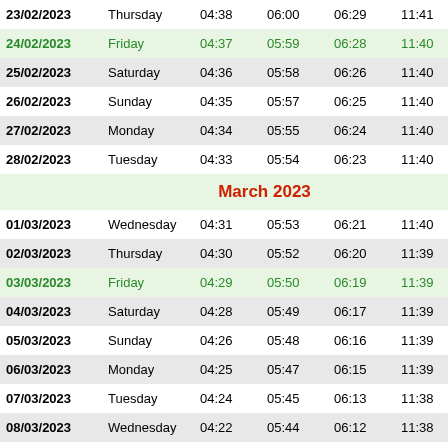| Date | Day | Col3 | Col4 | Col5 | Col6 | Col7 |
| --- | --- | --- | --- | --- | --- | --- |
| 23/02/2023 | Thursday | 04:38 | 06:00 | 06:29 | 11:41 | 1 |
| 24/02/2023 | Friday | 04:37 | 05:59 | 06:28 | 11:40 | 1 |
| 25/02/2023 | Saturday | 04:36 | 05:58 | 06:26 | 11:40 | 1 |
| 26/02/2023 | Sunday | 04:35 | 05:57 | 06:25 | 11:40 | 1 |
| 27/02/2023 | Monday | 04:34 | 05:55 | 06:24 | 11:40 | 1 |
| 28/02/2023 | Tuesday | 04:33 | 05:54 | 06:23 | 11:40 | 1 |
| March 2023 |  |  |  |  |  |  |
| 01/03/2023 | Wednesday | 04:31 | 05:53 | 06:21 | 11:40 | 1 |
| 02/03/2023 | Thursday | 04:30 | 05:52 | 06:20 | 11:39 | 1 |
| 03/03/2023 | Friday | 04:29 | 05:50 | 06:19 | 11:39 | 1 |
| 04/03/2023 | Saturday | 04:28 | 05:49 | 06:17 | 11:39 | 1 |
| 05/03/2023 | Sunday | 04:26 | 05:48 | 06:16 | 11:39 | 1 |
| 06/03/2023 | Monday | 04:25 | 05:47 | 06:15 | 11:39 | 1 |
| 07/03/2023 | Tuesday | 04:24 | 05:45 | 06:13 | 11:38 | 1 |
| 08/03/2023 | Wednesday | 04:22 | 05:44 | 06:12 | 11:38 | 1 |
| 09/03/2023 | Thursday | 04:21 | 05:43 | 06:11 | 11:38 | 1 |
| 10/03/2023 | Friday | 04:20 | 05:41 | 06:09 | 11:38 | 1 |
| 11/03/2023 | Saturday | 04:18 | 05:40 | 06:08 | 11:37 | 1 |